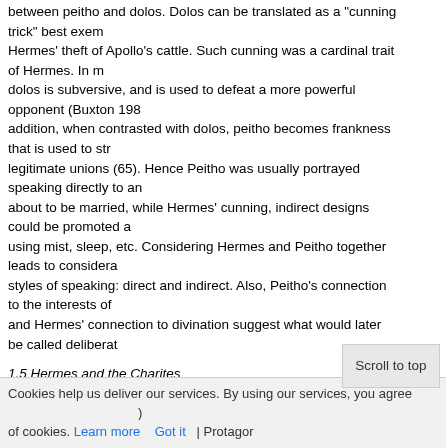between peitho and dolos. Dolos can be translated as a "cunning trick" best exemplified by Hermes' theft of Apollo's cattle. Such cunning was a cardinal trait of Hermes. In myth, dolos is subversive, and is used to defeat a more powerful opponent (Buxton 1982). In addition, when contrasted with dolos, peitho becomes frankness that is used to strengthen legitimate unions (65). Hence Peitho was usually portrayed speaking directly to anyone about to be married, while Hermes' cunning, indirect designs could be promoted as using mist, sleep, etc. Considering Hermes and Peitho together leads to considerations of styles of speaking: direct and indirect. Also, Peitho's connection to the interests of citizens and Hermes' connection to divination suggest what would later be called deliberative...
1.5 Hermes and the Charites
Hermes was "expressly assigned" to the Charites as their escort, and he was portrayed in this role in several places (Kerenyi 1944/1976: 110). For example, an archaic votive relief of Hermes and the Charites was displayed near Plato's Academy (Travlos 1971: 51). Harrison (1909) believed these common representations showed Hermes leading the goddesses and sacrifices being prepared for them, and perhaps connoted a role for Hermes as advertiser of sacrifices for other gods (36). With regard to persuasion, the arrangement suggests that brilliance should follow invention, that brilliant words are direction less without clev...
1.6 Peitho and the Charites
Peitho and the Charites were often depicted as attendants of A... 195...
(Gantz 1993: 54). A... page... | Protagor...
Cookies help us deliver our services. By using our services, you agree of cookies. Learn more Got it